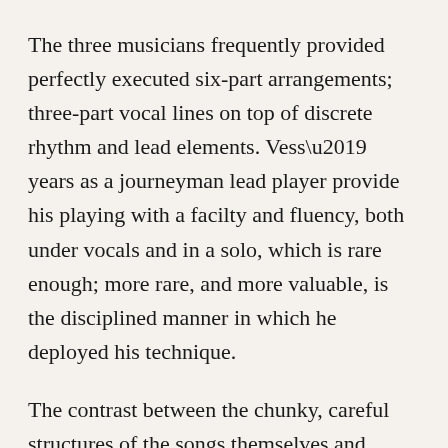The three musicians frequently provided perfectly executed six-part arrangements; three-part vocal lines on top of discrete rhythm and lead elements. Vess’ years as a journeyman lead player provide his playing with a facilty and fluency, both under vocals and in a solo, which is rare enough; more rare, and more valuable, is the disciplined manner in which he deployed his technique.
The contrast between the chunky, careful structures of the songs themselves and Vess’ concise, atonally expressive, risk-taking leads yielded a tension that was dramatic and emotionally satisfying at the same time.